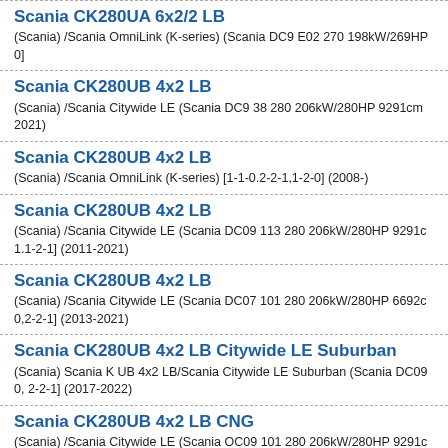Scania CK280UA 6x2/2 LB
(Scania) /Scania OmniLink (K-series) (Scania DC9 E02 270 198kW/269HP 0]
Scania CK280UB 4x2 LB
(Scania) /Scania Citywide LE (Scania DC9 38 280 206kW/280HP 9291cm 2021)
Scania CK280UB 4x2 LB
(Scania) /Scania OmniLink (K-series) [1-1-0.2-2-1,1-2-0] (2008-)
Scania CK280UB 4x2 LB
(Scania) /Scania Citywide LE (Scania DC09 113 280 206kW/280HP 9291c 1.1-2-1] (2011-2021)
Scania CK280UB 4x2 LB
(Scania) /Scania Citywide LE (Scania DC07 101 280 206kW/280HP 6692c 0,2-2-1] (2013-2021)
Scania CK280UB 4x2 LB Citywide LE Suburban
(Scania) Scania K UB 4x2 LB/Scania Citywide LE Suburban (Scania DC09 0, 2-2-1] (2017-2022)
Scania CK280UB 4x2 LB CNG
(Scania) /Scania Citywide LE (Scania OC09 101 280 206kW/280HP 9291c
Scania CK280UB 4x2 LB CNG Citywide LE Suburb
(Scania) Scania K UB 4x2 LB/Scania Citywide LE Suburban (Scania OC09